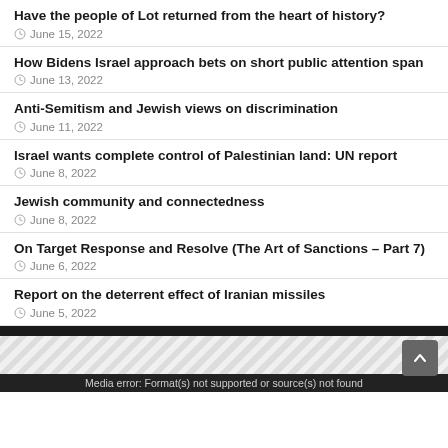Have the people of Lot returned from the heart of history?
June 15, 2022
How Bidens Israel approach bets on short public attention span
June 13, 2022
Anti-Semitism and Jewish views on discrimination
June 11, 2022
Israel wants complete control of Palestinian land: UN report
June 8, 2022
Jewish community and connectedness
June 8, 2022
On Target Response and Resolve (The Art of Sanctions – Part 7)
June 6, 2022
Report on the deterrent effect of Iranian missiles
June 5, 2022
Media error: Format(s) not supported or source(s) not found